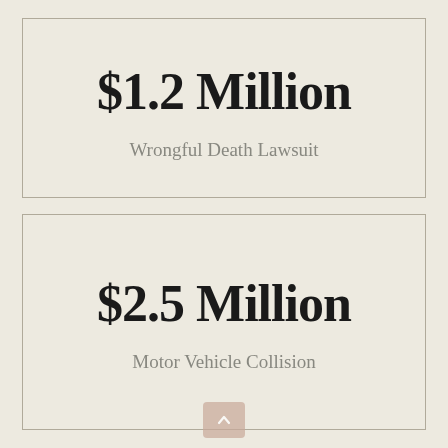$1.2 Million
Wrongful Death Lawsuit
$2.5 Million
Motor Vehicle Collision